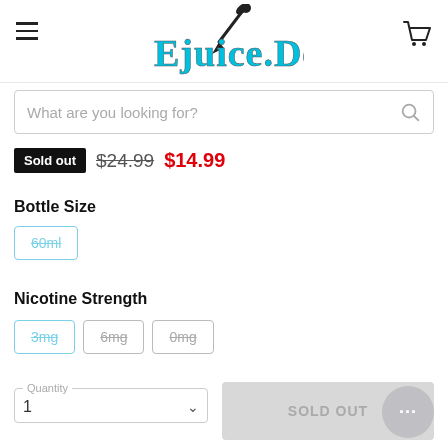Ejuice.Deals — navigation header with hamburger menu and cart icon
What are you looking for?
Sold out  $24.99  $14.99
Bottle Size
60ml
Nicotine Strength
3mg  6mg  0mg
Quantity 1
SOLD OUT